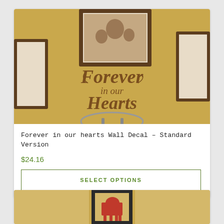[Figure (photo): Photo of a wall with brown cursive decal reading 'Forever in our Hearts' surrounded by dark wood framed photos on a golden-tan wall, with a round metal decorative piece below.]
Forever in our hearts Wall Decal – Standard Version
$24.16
SELECT OPTIONS
[Figure (photo): Partial photo of a wall with yellow background and a dark framed image containing a red horse/elephant silhouette.]